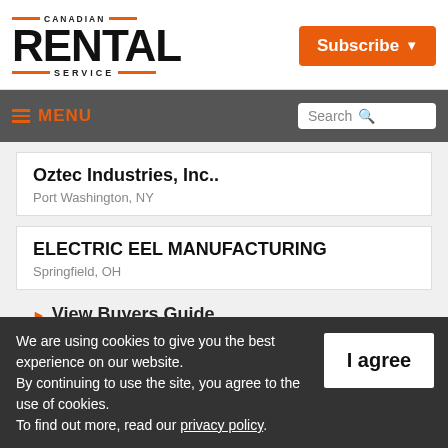[Figure (logo): Canadian Rental Service magazine logo with orange accent lines]
Subscribe ▾
≡ MENU | Search
Oztec Industries, Inc..
Port Washington, NY
ELECTRIC EEL MANUFACTURING
Springfield, OH
▶ View Buyers Guide
We are using cookies to give you the best experience on our website.
By continuing to use the site, you agree to the use of cookies.
To find out more, read our privacy policy.
I agree